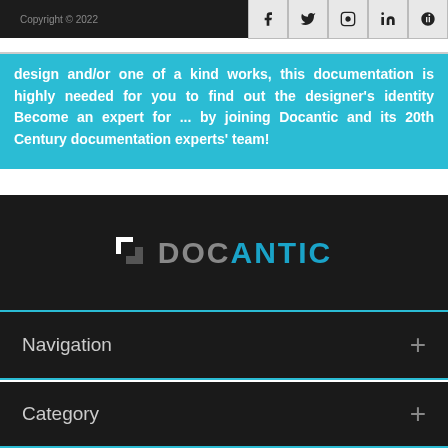DOCANTIC
design and/or one of a kind works, this documentation is highly needed for you to find out the designer's identity Become an expert for ... by joining Docantic and its 20th Century documentation experts' team!
[Figure (logo): Docantic logo on dark background]
Navigation +
Category +
Copyright © 2022